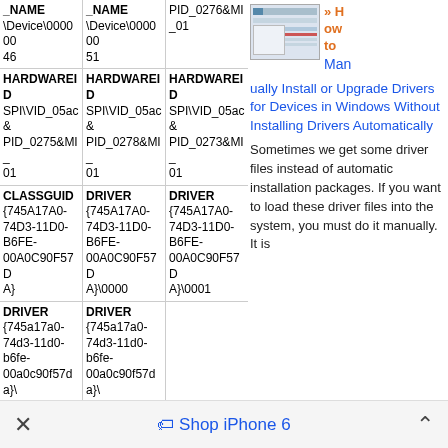| _NAME | _NAME | PID_0276&MI_01 |
| --- | --- | --- |
| \Device\00000046 | \Device\00000051 |  |
| HARDWAREID
SPI\VID_05ac&PID_0275&MI_01 | HARDWAREID
SPI\VID_05ac&PID_0278&MI_01 | HARDWAREID
SPI\VID_05ac&PID_0273&MI_01 |
| CLASSGUID
{745A17A0-74D3-11D0-B6FE-00A0C90F57DA} | DRIVER
{745A17A0-74D3-11D0-B6FE-00A0C90F57DA}\0000 | DRIVER
{745A17A0-74D3-11D0-B6FE-00A0C90F57DA}\0001 |
| DRIVER
{745a17a0-74d3-11d0-b6fe-00a0c90f57da}\ | DRIVER
{745a17a0-74d3-11d0-b6fe-00a0c90f57da}\ |  |
[Figure (screenshot): Thumbnail screenshot of Windows driver management interface]
>> How to Manually Install or Upgrade Drivers for Devices in Windows Without Installing Drivers Automatically
Sometimes we get some driver files instead of automatic installation packages. If you want to load these driver files into the system, you must do it manually. It is
× Shop iPhone 6 ^